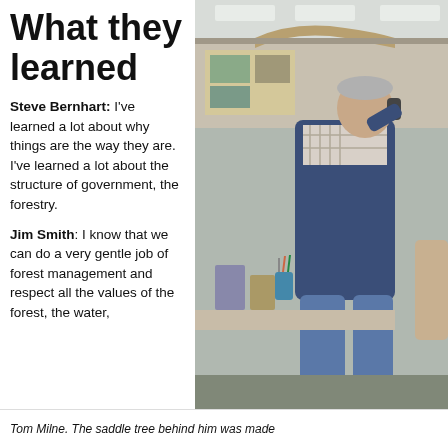What they learned
Steve Bernhart: I've learned a lot about why things are the way they are. I've learned a lot about the structure of government, the forestry.
Jim Smith: I know that we can do a very gentle job of forest management and respect all the values of the forest, the water,
[Figure (photo): An older man wearing a blue vest and plaid shirt stands in an office, talking on a phone. Behind him is a bulletin board with pictures and a cluttered desk. A saddle tree shape is visible on a shelf above.]
Tom Milne. The saddle tree behind him was made